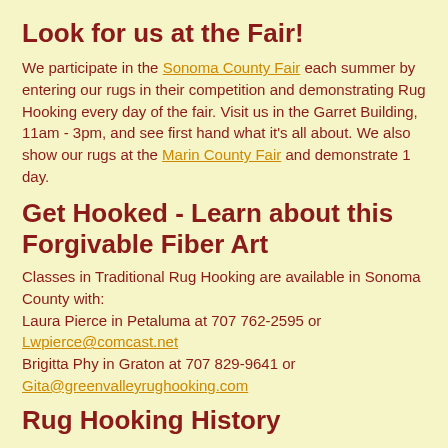Look for us at the Fair!
We participate in the Sonoma County Fair each summer by entering our rugs in their competition and demonstrating Rug Hooking every day of the fair. Visit us in the Garret Building, 11am - 3pm, and see first hand what it's all about. We also show our rugs at the Marin County Fair and demonstrate 1 day.
Get Hooked - Learn about this Forgivable Fiber Art
Classes in Traditional Rug Hooking are available in Sonoma County with:
Laura Pierce in Petaluma at 707 762-2595 or Lwpierce@comcast.net
Brigitta Phy in Graton at 707 829-9641 or Gita@greenvalleyrughooking.com
Rug Hooking History